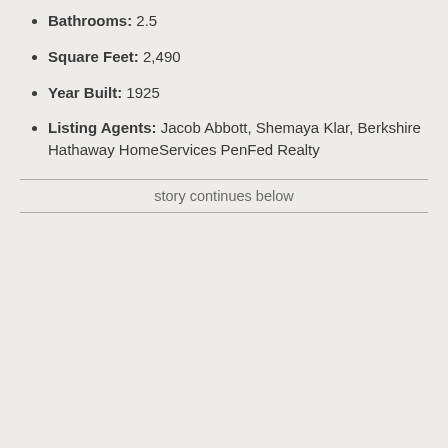Bathrooms: 2.5
Square Feet: 2,490
Year Built: 1925
Listing Agents: Jacob Abbott, Shemaya Klar, Berkshire Hathaway HomeServices PenFed Realty
story continues below